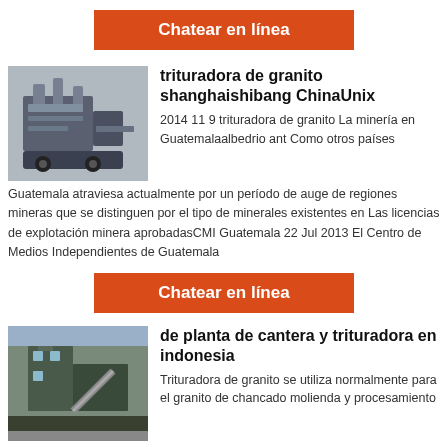[Figure (other): Orange button: Chatear en línea]
[Figure (photo): Industrial granite crusher machine in a factory setting]
trituradora de granito shanghaishibang ChinaUnix
2014 11 9 trituradora de granito La minería en Guatemalaalbedrio ant Como otros países Guatemala atraviesa actualmente por un período de auge de regiones mineras que se distinguen por el tipo de minerales existentes en Las licencias de explotación minera aprobadasCMI Guatemala 22 Jul 2013 El Centro de Medios Independientes de Guatemala
[Figure (other): Orange button: Chatear en línea]
[Figure (photo): Industrial quarry plant and crusher in Indonesia]
de planta de cantera y trituradora en indonesia
Trituradora de granito se utiliza normalmente para el granito de chancado molienda y procesamiento de productos mineros cuando la cantera es para la producción de granito máquina trituradora de piedra usada para la venta en Estados para la venta en de piedra caliza relación de reducción es de 10 a 35 maquinas de